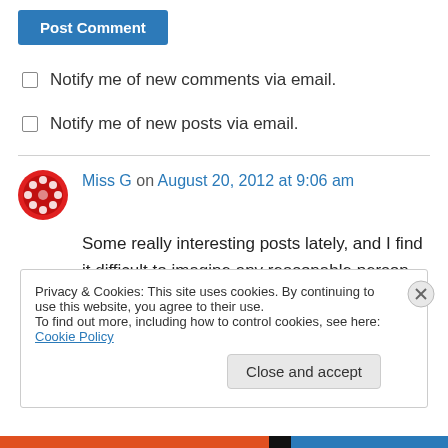Post Comment
Notify me of new comments via email.
Notify me of new posts via email.
Miss G on August 20, 2012 at 9:06 am
Some really interesting posts lately, and I find it difficult to imagine any reasonable person disagreeitng with you. However that's the
Privacy & Cookies: This site uses cookies. By continuing to use this website, you agree to their use.
To find out more, including how to control cookies, see here: Cookie Policy
Close and accept